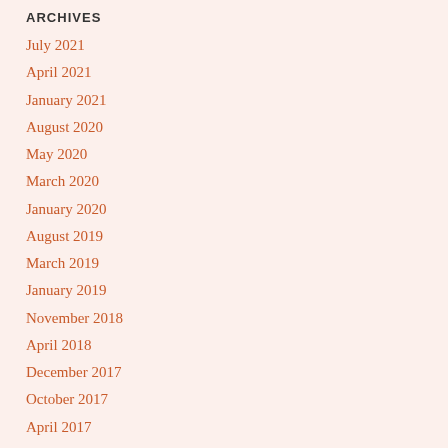ARCHIVES
July 2021
April 2021
January 2021
August 2020
May 2020
March 2020
January 2020
August 2019
March 2019
January 2019
November 2018
April 2018
December 2017
October 2017
April 2017
April 2016